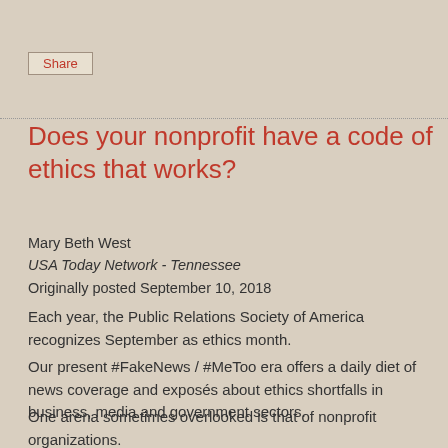Share
Does your nonprofit have a code of ethics that works?
Mary Beth West
USA Today Network - Tennessee
Originally posted September 10, 2018
Each year, the Public Relations Society of America recognizes September as ethics month.
Our present #FakeNews / #MeToo era offers a daily diet of news coverage and exposés about ethics shortfalls in business, media and government sectors.
One arena sometimes overlooked is that of nonprofit organizations.